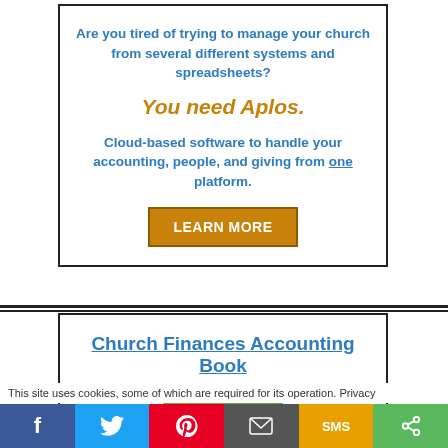Are you tired of trying to manage your church from several different systems and spreadsheets?
You need Aplos.
Cloud-based software to handle your accounting, people, and giving from one platform.
LEARN MORE
Church Finances Accounting Book
This site uses cookies, some of which are required for its operation. Privacy